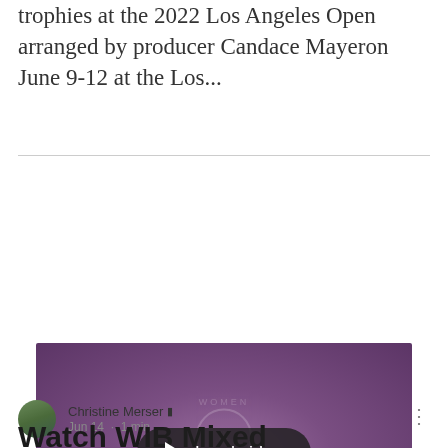trophies at the 2022 Los Angeles Open arranged by producer Candace Mayeron June 9-12 at the Los...
[Figure (screenshot): Video thumbnail with purple gradient background showing a 'Load video' button overlay. Watermark of Women in Backgammon logo visible. Caption reads: 'Women in Backgammon Presents Backgammon Mixed Doubles Finals Match with Alan & Joan Grunwald against Zoorek Zion & Eva Ziskova']
Christine Merser 🛡 Admin
Jun 14 · 1 min
Watch WIB Mixed Doubles Finals Match